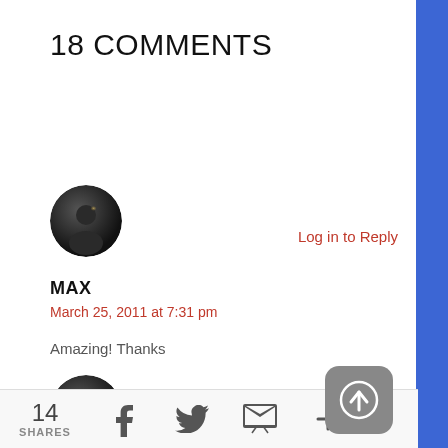18 COMMENTS
[Figure (photo): Dark circular avatar image for user MAX]
Log in to Reply
MAX
March 25, 2011 at 7:31 pm
Amazing! Thanks
[Figure (photo): Dark circular avatar image for user KARSTEN]
Log in to Reply
KARSTEN
14 SHARES